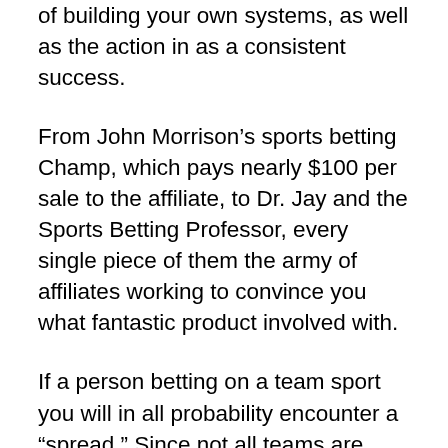of building your own systems, as well as the action in as a consistent success.
From John Morrison’s sports betting Champ, which pays nearly $100 per sale to the affiliate, to Dr. Jay and the Sports Betting Professor, every single piece of them the army of affiliates working to convince you what fantastic product involved with.
If a person betting on a team sport you will in all probability encounter a “spread.” Since not all teams are equal apropos talent and potential gambling houses are able to “even the odds” by placing a covering on an event. This requires the favored team to win by the specific number of points to make sure that betters who bet on favored team to record a